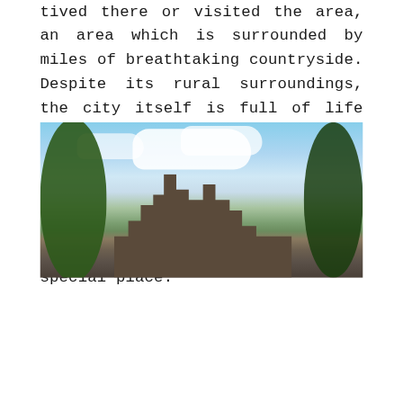tived there or visited the area, an area which is surrounded by miles of breathtaking countryside. Despite its rural surroundings, the city itself is full of life and excitement. There are a whole range of historic sites to see, such as Edinburgh Castle as well as a number of natural landmarks and this rich combination of attractions makes Edinburgh a special place.
[Figure (photo): Photograph of Edinburgh Castle viewed from below through tree branches against a blue sky with white clouds]